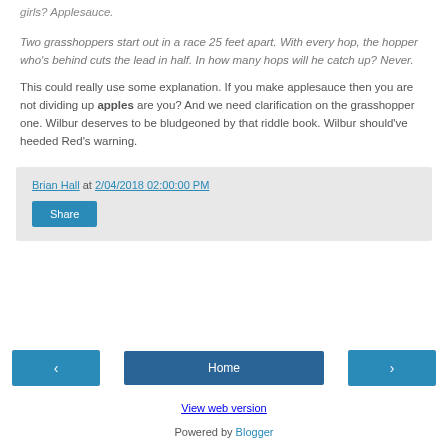girls? Applesauce.
Two grasshoppers start out in a race 25 feet apart. With every hop, the hopper who's behind cuts the lead in half. In how many hops will he catch up? Never.
This could really use some explanation. If you make applesauce then you are not dividing up apples are you? And we need clarification on the grasshopper one. Wilbur deserves to be bludgeoned by that riddle book. Wilbur should've heeded Red's warning.
Brian Hall at 2/04/2018 02:00:00 PM
Share
Home
View web version
Powered by Blogger